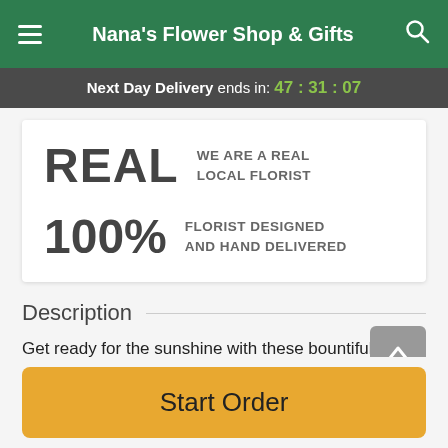Nana's Flower Shop & Gifts
Next Day Delivery ends in: 47 : 31 : 07
REAL WE ARE A REAL LOCAL FLORIST
100% FLORIST DESIGNED AND HAND DELIVERED
Description
Get ready for the sunshine with these bountiful garden blooms! Featuring all the colors of the sun, this cheery
Start Order